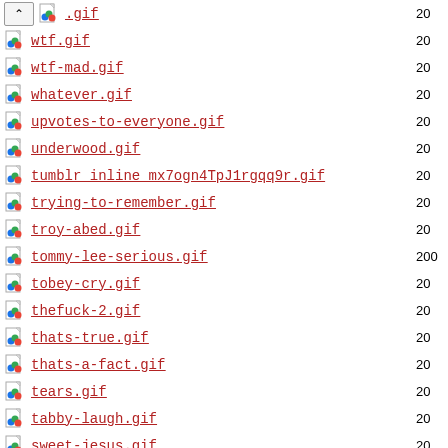.gif
wtf.gif
wtf-mad.gif
whatever.gif
upvotes-to-everyone.gif
underwood.gif
tumblr_inline_mx7ogn4TpJ1rgqq9r.gif
trying-to-remember.gif
troy-abed.gif
tommy-lee-serious.gif
tobey-cry.gif
thefuck-2.gif
thats-true.gif
thats-a-fact.gif
tears.gif
tabby-laugh.gif
sweet-jesus.gif